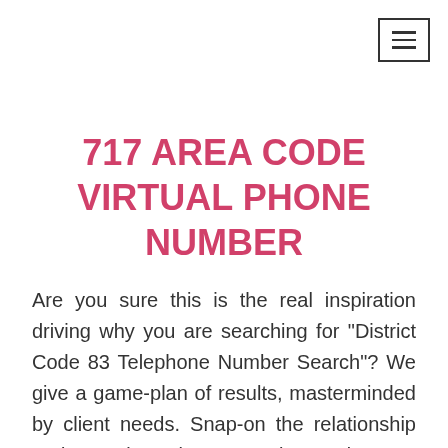717 AREA CODE VIRTUAL PHONE NUMBER
Are you sure this is the real inspiration driving why you are searching for "District Code 83 Telephone Number Search"? We give a game-plan of results, masterminded by client needs. Snap-on the relationship under to investigate "Region code 834" Telephone number Lookup.